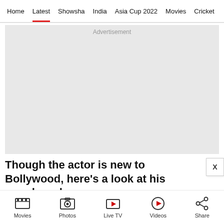Home | Latest | Showsha | India | Asia Cup 2022 | Movies | Cricket
[Figure (other): Advertisement placeholder block (light grey rectangle)]
Though the actor is new to Bollywood, here’s a look at his popular roles:
Movies | Photos | Live TV | Videos | Share